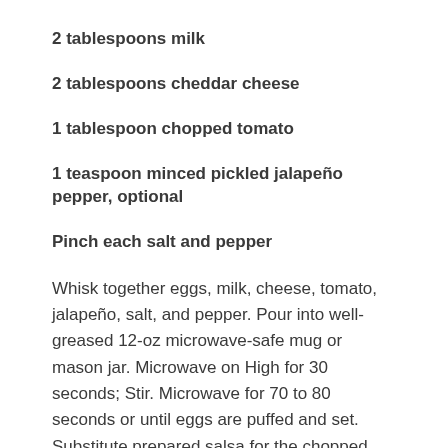2 tablespoons milk
2 tablespoons cheddar cheese
1 tablespoon chopped tomato
1 teaspoon minced pickled jalapeño pepper, optional
Pinch each salt and pepper
Whisk together eggs, milk, cheese, tomato, jalapeño, salt, and pepper. Pour into well-greased 12-oz microwave-safe mug or mason jar. Microwave on High for 30 seconds; Stir. Microwave for 70 to 80 seconds or until eggs are puffed and set. Substitute prepared salsa for the chopped